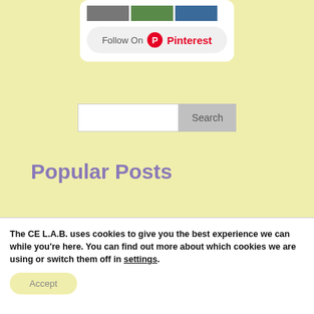[Figure (screenshot): Pinterest widget showing thumbnail images and a Follow On Pinterest button with Pinterest logo]
[Figure (screenshot): Search input box with Search button]
Popular Posts
The CE L.A.B. uses cookies to give you the best experience we can while you're here. You can find out more about which cookies we are using or switch them off in settings.
Accept